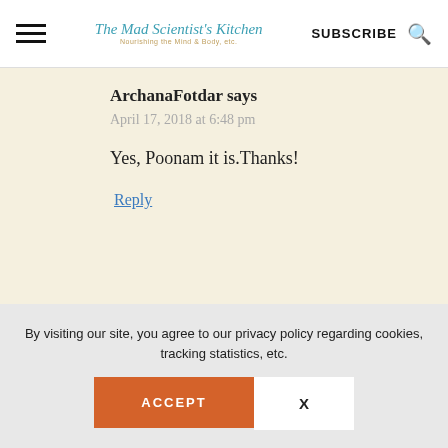The Mad Scientist's Kitchen | SUBSCRIBE
ArchanaFotdar says
April 17, 2018 at 6:48 pm
Yes, Poonam it is.Thanks!
Reply
By visiting our site, you agree to our privacy policy regarding cookies, tracking statistics, etc.
ACCEPT
X